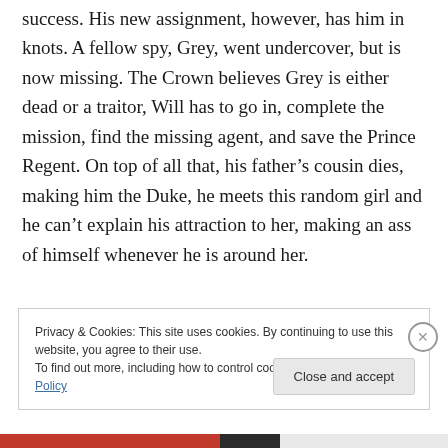success. His new assignment, however, has him in knots. A fellow spy, Grey, went undercover, but is now missing. The Crown believes Grey is either dead or a traitor, Will has to go in, complete the mission, find the missing agent, and save the Prince Regent. On top of all that, his father's cousin dies, making him the Duke, he meets this random girl and he can't explain his attraction to her, making an ass of himself whenever he is around her.
Privacy & Cookies: This site uses cookies. By continuing to use this website, you agree to their use.
To find out more, including how to control cookies, see here: Cookie Policy